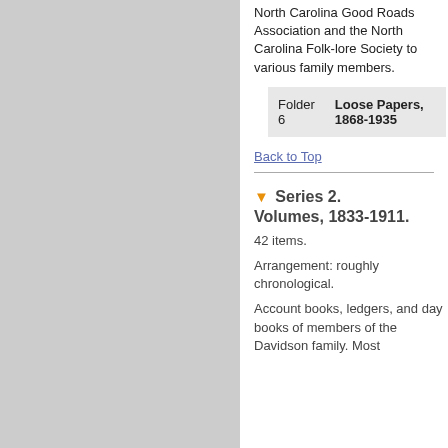North Carolina Good Roads Association and the North Carolina Folk-lore Society to various family members.
| Folder | Title |
| --- | --- |
| Folder 6 | Loose Papers, 1868-1935 |
Back to Top
▼ Series 2. Volumes, 1833-1911.
42 items.
Arrangement: roughly chronological.
Account books, ledgers, and day books of members of the Davidson family. Most